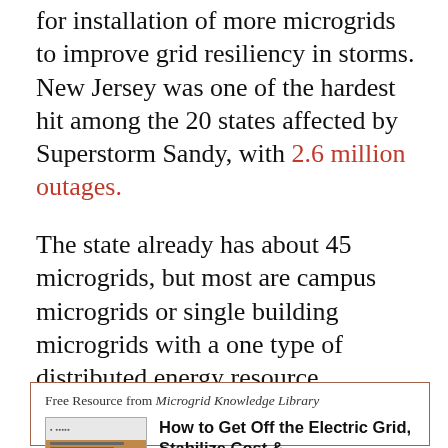for installation of more microgrids to improve grid resiliency in storms. New Jersey was one of the hardest hit among the 20 states affected by Superstorm Sandy, with 2.6 million outages.
The state already has about 45 microgrids, but most are campus microgrids or single building microgrids with a one type of distributed energy resource, according the BPU.
Free Resource from Microgrid Knowledge Library
[Figure (other): Thumbnail image of a document cover showing a building/electrical grid illustration in brown/orange tones with small text lines at top]
How to Get Off the Electric Grid, Stabilize Cost &